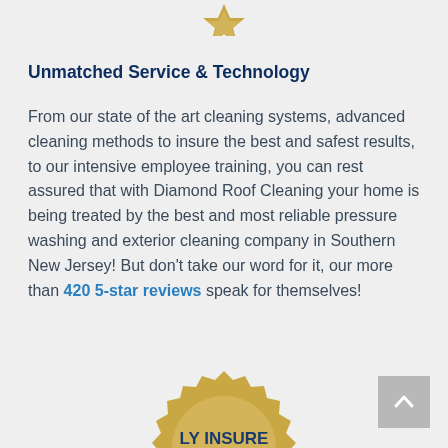[Figure (illustration): Partially visible gold badge/seal at the top center of the page]
Unmatched Service & Technology
From our state of the art cleaning systems, advanced cleaning methods to insure the best and safest results, to our intensive employee training, you can rest assured that with Diamond Roof Cleaning your home is being treated by the best and most reliable pressure washing and exterior cleaning company in Southern New Jersey! But don't take our word for it, our more than 420 5-star reviews speak for themselves!
[Figure (illustration): Partially visible gold badge/seal at the bottom center reading 'LY INSURE' (fully insured badge, cropped)]